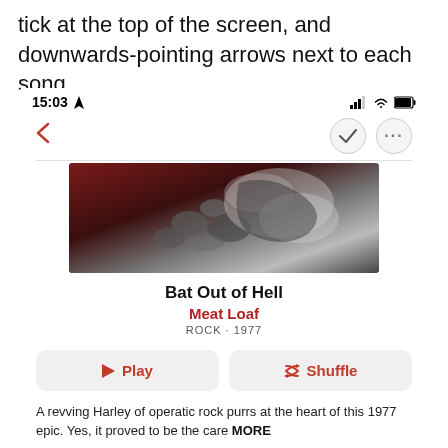tick at the top of the screen, and downwards-pointing arrows next to each song.
[Figure (screenshot): iPhone screenshot showing Apple Music album page for 'Bat Out of Hell' by Meat Loaf. Status bar shows 15:03 with location icon, signal bars, wifi, and battery. Navigation bar with back arrow, checkmark button, and more button. Album artwork showing dark rocky imagery. Album title 'Bat Out of Hell', artist 'Meat Loaf' in red, genre/year 'ROCK · 1977'. Play and Shuffle buttons. Description text starting 'A revving Harley of operatic rock purrs at the heart of this 1977 epic. Yes, it proved to be the care' then MORE. Hi-Res Lossless and Apple Digital Master badges.]